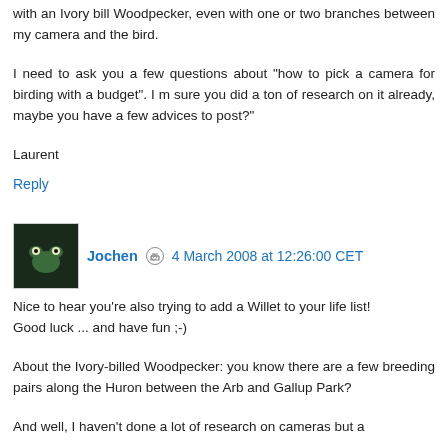with an Ivory bill Woodpecker, even with one or two branches between my camera and the bird.
I need to ask you a few questions about "how to pick a camera for birding with a budget". I m sure you did a ton of research on it already, maybe you have a few advices to post?"
Laurent
Reply
Jochen  4 March 2008 at 12:26:00 CET
Nice to hear you're also trying to add a Willet to your life list!
Good luck ... and have fun ;-)
About the Ivory-billed Woodpecker: you know there are a few breeding pairs along the Huron between the Arb and Gallup Park?
And well, I haven't done a lot of research on cameras but a